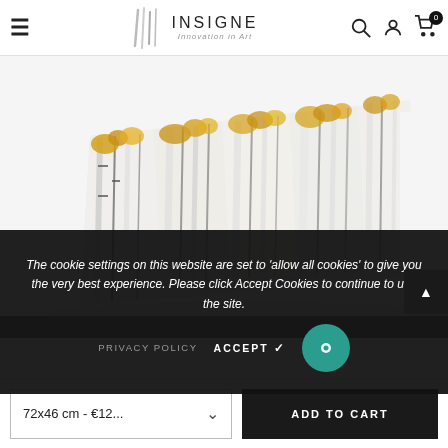Insigne - Innovation in Art
[Figure (photo): A multi-panel canvas art print showing birch trees with golden/yellow foliage against a white background, displayed at an angle as a product shot]
The cookie settings on this website are set to 'allow all cookies' to give you the very best experience. Please click Accept Cookies to continue to use the site.
PRIVACY POLICY   ACCEPT ✓
72x46 cm - €12...   ADD TO CART